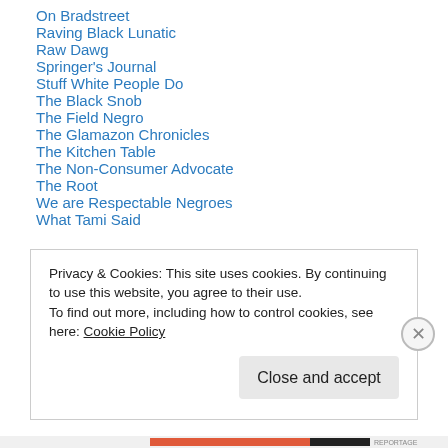On Bradstreet
Raving Black Lunatic
Raw Dawg
Springer's Journal
Stuff White People Do
The Black Snob
The Field Negro
The Glamazon Chronicles
The Kitchen Table
The Non-Consumer Advocate
The Root
We are Respectable Negroes
What Tami Said
Privacy & Cookies: This site uses cookies. By continuing to use this website, you agree to their use. To find out more, including how to control cookies, see here: Cookie Policy
Close and accept